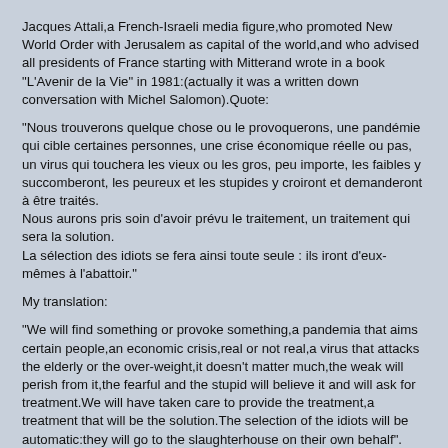Jacques Attali,a French-Israeli media figure,who promoted New World Order with Jerusalem as capital of the world,and who advised all presidents of France starting with Mitterand wrote in a book "L'Avenir de la Vie" in 1981:(actually it was a written down conversation with Michel Salomon).Quote:
"Nous trouverons quelque chose ou le provoquerons, une pandémie qui cible certaines personnes, une crise économique réelle ou pas, un virus qui touchera les vieux ou les gros, peu importe, les faibles y succomberont, les peureux et les stupides y croiront et demanderont à être traités.
Nous aurons pris soin d'avoir prévu le traitement, un traitement qui sera la solution.
La sélection des idiots se fera ainsi toute seule : ils iront d'eux-mêmes à l'abattoir."
My translation:
"We will find something or provoke something,a pandemia that aims certain people,an economic crisis,real or not real,a virus that attacks the elderly or the over-weight,it doesn't matter much,the weak will perish from it,the fearful and the stupid will believe it and will ask for treatment.We will have taken care to provide the treatment,a treatment that will be the solution.The selection of the idiots will be automatic:they will go to the slaughterhouse on their own behalf".